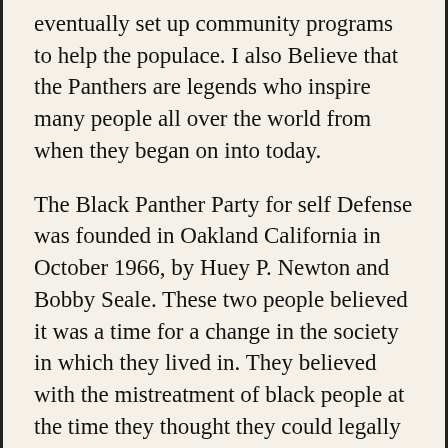eventually set up community programs to help the populace. I also Believe that the Panthers are legends who inspire many people all over the world from when they began on into today.
The Black Panther Party for self Defense was founded in Oakland California in October 1966, by Huey P. Newton and Bobby Seale. These two people believed it was a time for a change in the society in which they lived in. They believed with the mistreatment of black people at the time they thought they could legally defend themselves. That same year, they recorded their goals on a paper they passed out known as the 10 point program. Eventually they adapted for use the Black Panther symbol established the preceding year. They also studied Malcolm X, Fanon, and Chairman Mao Tse-Tung, and law